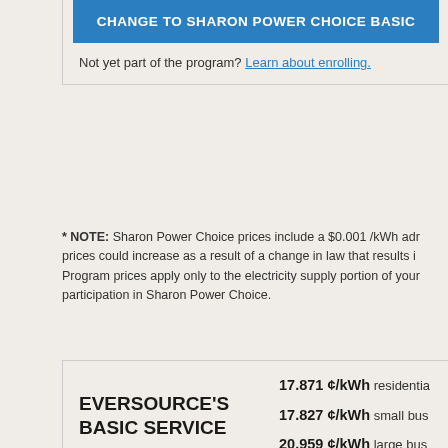CHANGE TO SHARON POWER CHOICE BASIC
Not yet part of the program? Learn about enrolling.
* NOTE: Sharon Power Choice prices include a $0.001 /kWh adm prices could increase as a result of a change in law that results in Program prices apply only to the electricity supply portion of your participation in Sharon Power Choice.
| EVERSOURCE'S BASIC SERVICE | Rates |
| --- | --- |
| EVERSOURCE'S BASIC SERVICE | 17.871 ¢/kWh residential
17.827 ¢/kWh small bus
20.959 ¢/kWh large bus |
| Price term | July 1, 2022 – December 2022, for large business

Eversource's fixed Basic |